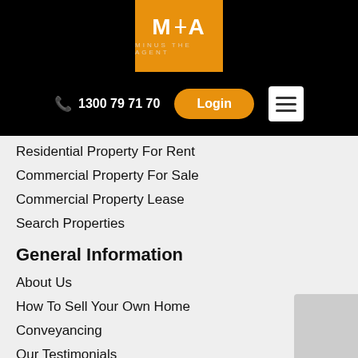[Figure (logo): Minus The Agent logo - orange square with MTA lettering and tagline MINUS THE AGENT]
1300 79 71 70
Login
Residential Property For Rent
Commercial Property For Sale
Commercial Property Lease
Search Properties
General Information
About Us
How To Sell Your Own Home
Conveyancing
Our Testimonials